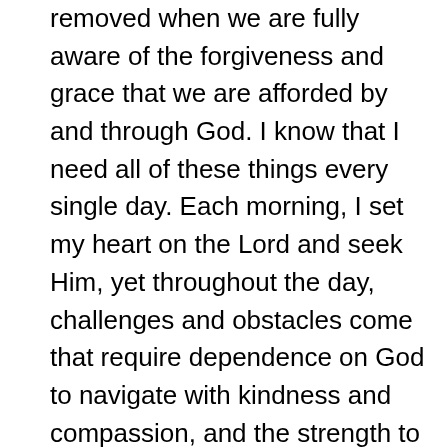removed when we are fully aware of the forgiveness and grace that we are afforded by and through God. I know that I need all of these things every single day. Each morning, I set my heart on the Lord and seek Him, yet throughout the day, challenges and obstacles come that require dependence on God to navigate with kindness and compassion, and the strength to choose to forgive. There is a constant battle between human nature and the divine. God is gracious and full of love, and will supply all that we need to walk in His way if we choose to depend on Him. May we ever seek our Savior, who forgives and loves us beyond what we can comprehend, and allow Him to lead us and guide us in His everlasting